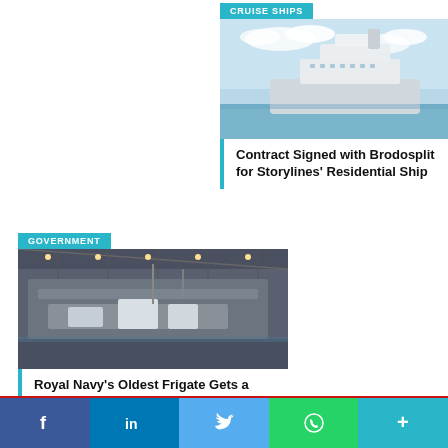CRUISE SHIPS
[Figure (photo): Cruise ship at sea with blue sky and clouds]
Contract Signed with Brodosplit for Storylines' Residential Ship
GOVERNMENT
[Figure (photo): Naval frigate in shipyard/dry dock, industrial setting]
Royal Navy's Oldest Frigate Gets a Second Career LIFEX Adding 5 Years
[Figure (other): Social media share buttons: Facebook, LinkedIn, Twitter, WhatsApp, More]